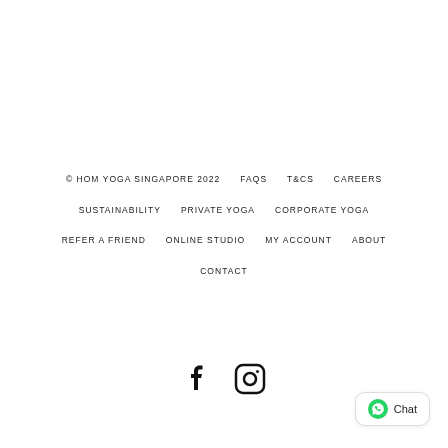© HOM YOGA SINGAPORE 2022   FAQS   T&CS   CAREERS   SUSTAINABILITY   PRIVATE YOGA   CORPORATE YOGA   REFER A FRIEND   ONLINE STUDIO   MY ACCOUNT   ABOUT   CONTACT
[Figure (illustration): Facebook and Instagram social media icons]
[Figure (illustration): WhatsApp Chat button widget in bottom right corner]